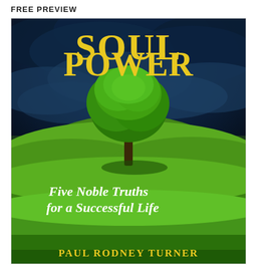FREE PREVIEW
[Figure (illustration): Book cover for 'Soul Power: Five Noble Truths for a Successful Life' by Paul Rodney Turner. The cover features a dramatic landscape with a single green tree standing in a bright green field under a dark stormy sky with clouds. The title 'SOUL POWER' is displayed in large bold yellow serif letters at the top. Subtitle 'Five Noble Truths for a Successful Life' in white italic serif text in the lower portion. Author name 'PAUL RODNEY TURNER' in yellow text at the bottom.]